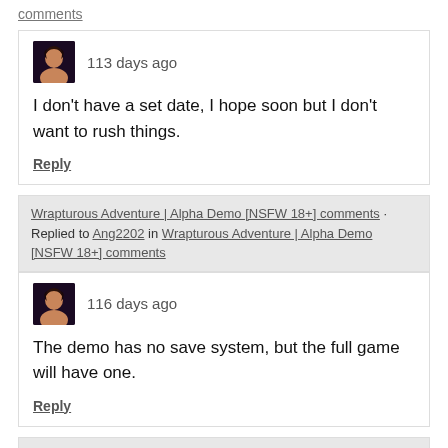comments
113 days ago
I don't have a set date, I hope soon but I don't want to rush things.
Reply
Wrapturous Adventure | Alpha Demo [NSFW 18+] comments · Replied to Ang2202 in Wrapturous Adventure | Alpha Demo [NSFW 18+] comments
116 days ago
The demo has no save system, but the full game will have one.
Reply
Wrapturous Adventure | Alpha Demo [NSFW 18+] comments · Replied